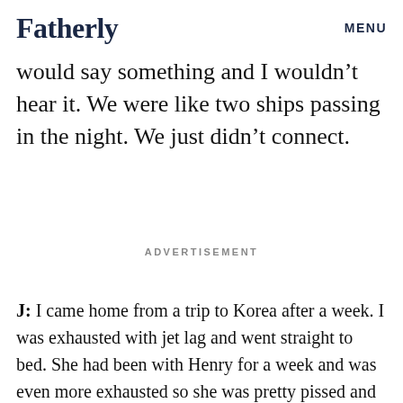Fatherly  MENU
something and he wouldn't hear it; he would say something and I wouldn't hear it. We were like two ships passing in the night. We just didn't connect.
ADVERTISEMENT
J: I came home from a trip to Korea after a week. I was exhausted with jet lag and went straight to bed. She had been with Henry for a week and was even more exhausted so she was pretty pissed and went